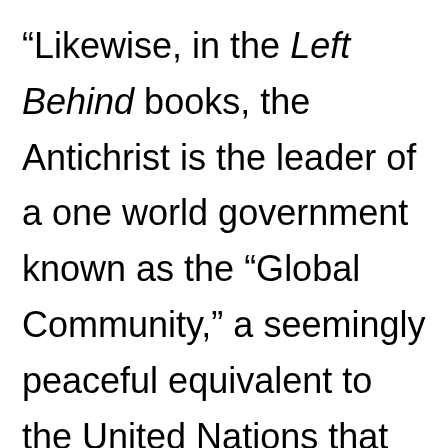“Likewise, in the Left Behind books, the Antichrist is the leader of a one world government known as the “Global Community,” a seemingly peaceful equivalent to the United Nations that turns out to (once again) be in league with Satan.”